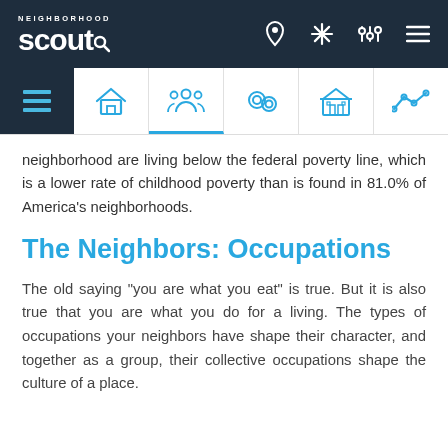Neighborhood Scout - navigation header with logo and icons
neighborhood are living below the federal poverty line, which is a lower rate of childhood poverty than is found in 81.0% of America's neighborhoods.
The Neighbors: Occupations
The old saying "you are what you eat" is true. But it is also true that you are what you do for a living. The types of occupations your neighbors have shape their character, and together as a group, their collective occupations shape the culture of a place.